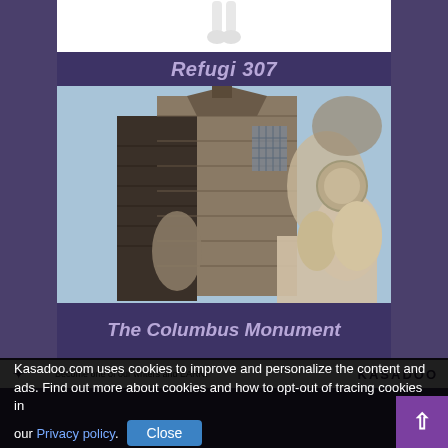[Figure (illustration): Partial view of a 3D character's legs/feet in white against white background]
Refugi 307
[Figure (photo): Photo of The Columbus Monument in Barcelona, showing ornate stone sculptures and architectural details against a blue sky]
The Columbus Monument
Kasadoo.com uses cookies to improve and personalize the content and ads. Find out more about cookies and how to opt-out of tracing cookies in our Privacy policy.